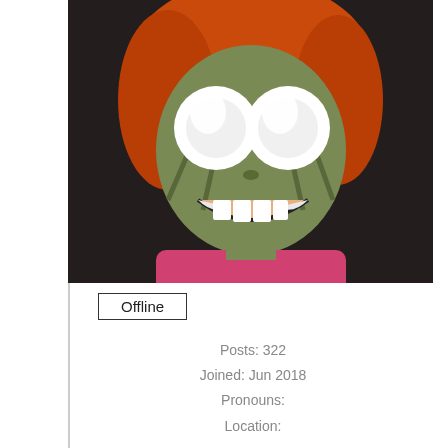[Figure (photo): Avatar image of an animated/puppet-like character with orange hair, large round white eyes, striped face markings, and a grin, wearing a pink shirt. Dark background.]
Offline
Posts: 322
Joined: Jun 2018
Pronouns:
Location:
Local Posts   All Posts
TerraTorment
RE: Lucidshift
06-12-2021, 06:53 PM
[Figure (illustration): Pixel art style illustration of a cartoon character with a colorful mushroom/jellyfish hat, purple background, holding something.]
>William: Pet magali.